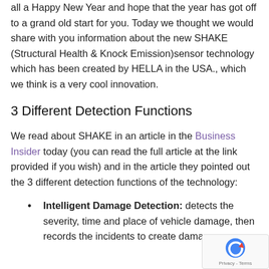all a Happy New Year and hope that the year has got off to a grand old start for you. Today we thought we would share with you information about the new SHAKE (Structural Health & Knock Emission)sensor technology which has been created by HELLA in the USA., which we think is a very cool innovation.
3 Different Detection Functions
We read about SHAKE in an article in the Business Insider today (you can read the full article at the link provided if you wish) and in the article they pointed out the 3 different detection functions of the technology:
Intelligent Damage Detection: detects the severity, time and place of vehicle damage, then records the incidents to create damage